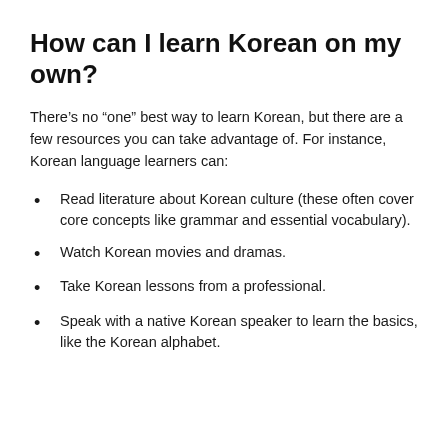How can I learn Korean on my own?
There’s no “one” best way to learn Korean, but there are a few resources you can take advantage of. For instance, Korean language learners can:
Read literature about Korean culture (these often cover core concepts like grammar and essential vocabulary).
Watch Korean movies and dramas.
Take Korean lessons from a professional.
Speak with a native Korean speaker to learn the basics, like the Korean alphabet.